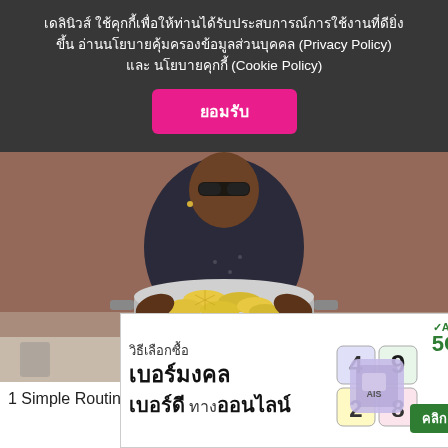เดลินิวส์ ใช้คุกกี้เพื่อให้ท่านได้รับประสบการณ์การใช้งานที่ดียิ่งขึ้น อ่านนโยบายคุ้มครองข้อมูลส่วนบุคคล (Privacy Policy) และ นโยบายคุกกี้ (Cookie Policy)
ยอมรับ
[Figure (photo): A person wearing sunglasses and a dark patterned shirt holding a large silver pot filled with lemon slices in a kitchen setting]
1 Simple Routine That Melts Away Belly Fat
[Figure (photo): AIS 5G advertisement banner in Thai language: วิธีเลือกซื้อเบอร์มงคล เบอร์ดี ทางออนไลน์ with SIM card imagery and green คลิก button]